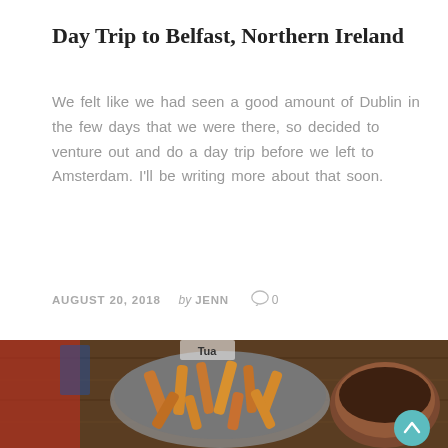Day Trip to Belfast, Northern Ireland
We felt like we had seen a good amount of Dublin in the few days that we were there, so decided to venture out and do a day trip before we left to Amsterdam. I'll be writing more about that soon.
AUGUST 20, 2018   by JENN   0
[Figure (photo): Photo of french fries in a metal bowl on a wooden surface, with other food items visible, taken at a restaurant.]